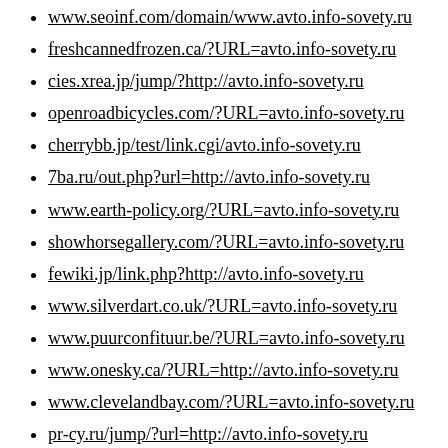www.seoinf.com/domain/www.avto.info-sovety.ru
freshcannedfrozen.ca/?URL=avto.info-sovety.ru
cies.xrea.jp/jump/?http://avto.info-sovety.ru
openroadbicycles.com/?URL=avto.info-sovety.ru
cherrybb.jp/test/link.cgi/avto.info-sovety.ru
7ba.ru/out.php?url=http://avto.info-sovety.ru
www.earth-policy.org/?URL=avto.info-sovety.ru
showhorsegallery.com/?URL=avto.info-sovety.ru
fewiki.jp/link.php?http://avto.info-sovety.ru
www.silverdart.co.uk/?URL=avto.info-sovety.ru
www.puurconfituur.be/?URL=avto.info-sovety.ru
www.onesky.ca/?URL=http://avto.info-sovety.ru
www.clevelandbay.com/?URL=avto.info-sovety.ru
pr-cy.ru/jump/?url=http://avto.info-sovety.ru
google.co.bw/url?q=http://avto.info-sovety.ru
google.co.id/url?q=http://avto.info-sovety.ru
google.co.in/url?q=http://avto.info-sovety.ru
google.co.il/url?q=http://avto.info-sovety.ru